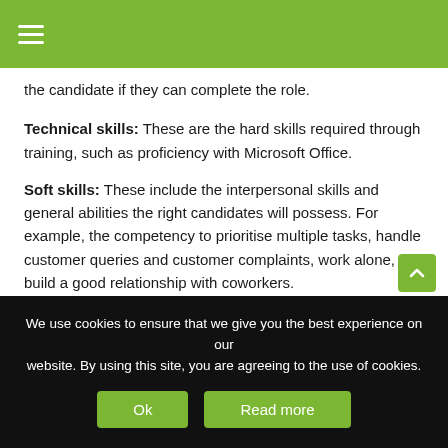≡ (menu icon)
the candidate if they can complete the role.
Technical skills: These are the hard skills required through training, such as proficiency with Microsoft Office.
Soft skills: These include the interpersonal skills and general abilities the right candidates will possess. For example, the competency to prioritise multiple tasks, handle customer queries and customer complaints, work alone, or build a good relationship with coworkers.
The company's culture: Highlighting your company culture and values ensures employees thrive and find outstand' job satisfaction. Candidates that are not the right fit...
We use cookies to ensure that we give you the best experience on our website. By using this site, you are agreeing to the use of cookies. Ok | Read more